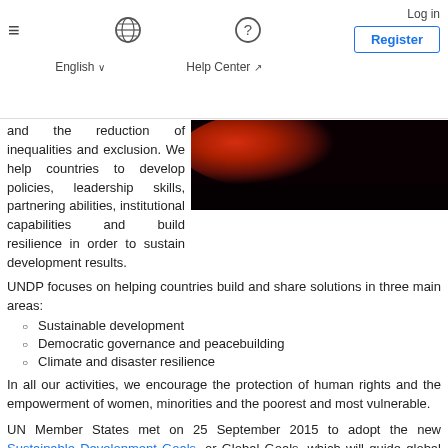Log in | Register | English | Help Center
and the reduction of inequalities and exclusion. We help countries to develop policies, leadership skills, partnering abilities, institutional capabilities and build resilience in order to sustain development results.
[Figure (photo): Dark reddish-orange sunset or fire image against a dark background]
UNDP focuses on helping countries build and share solutions in three main areas:
Sustainable development
Democratic governance and peacebuilding
Climate and disaster resilience
In all our activities, we encourage the protection of human rights and the empowerment of women, minorities and the poorest and most vulnerable.
UN Member States met on 25 September 2015 to adopt the new Sustainable Development Goals, or Global Goals, which will guide global development priorities for the next 15 years. UNDP's network links and coordinates global and national efforts to meet the